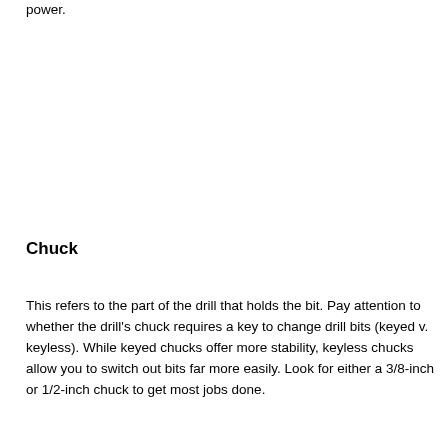power.
Chuck
This refers to the part of the drill that holds the bit. Pay attention to whether the drill's chuck requires a key to change drill bits (keyed v. keyless). While keyed chucks offer more stability, keyless chucks allow you to switch out bits far more easily. Look for either a 3/8-inch or 1/2-inch chuck to get most jobs done.